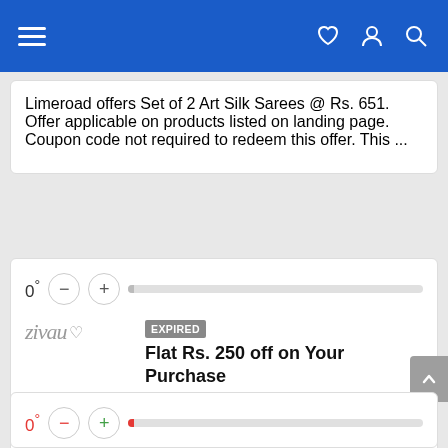Navigation bar with hamburger menu, heart icon, user icon, search icon
Limeroad offers Set of 2 Art Silk Sarees @ Rs. 651. Offer applicable on products listed on landing page. Coupon code not required to redeem this offer. This ...
0° — + [rating bar]
zivau ♡ EXPIRED Flat Rs. 250 off on Your Purchase
Avail Flat Rs. 250 off on Your Purchase. This Coupon valid on payment through oxigen wallet. Coupon valid on minimum amount of Rs. 750. This Coupon is valid ...
0° — + [rating bar]